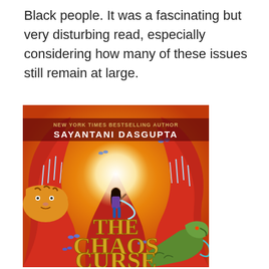Black people. It was a fascinating but very disturbing read, especially considering how many of these issues still remain at large.
[Figure (illustration): Book cover of 'The Chaos Curse' by Sayantani DasGupta (New York Times Bestselling Author). The cover shows a young girl in a purple outfit holding a glowing item, surrounded by swirling red trees with icicles, blue butterflies, a tiger on the left, and a green dragon on the lower right, against a warm orange and yellow background. The title 'The Chaos Curse' is displayed in large gold letters at the bottom.]